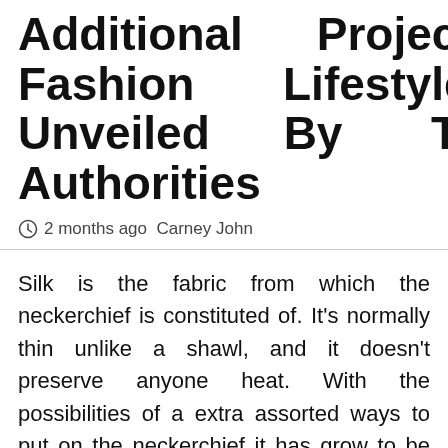Additional Fashion Unveiled Project Lifestyle By The Authorities
2 months ago  Carney John
Silk is the fabric from which the neckerchief is constituted of. It's normally thin unlike a shawl, and it doesn't preserve anyone heat. With the possibilities of a extra assorted ways to put on the neckerchief it has grow to be the toast of most designers, and excessive road alike. The neckerchief enhances most outfit selections by including texture, layering and interest. It comes in a wide range of sample and adds loads of colour to your